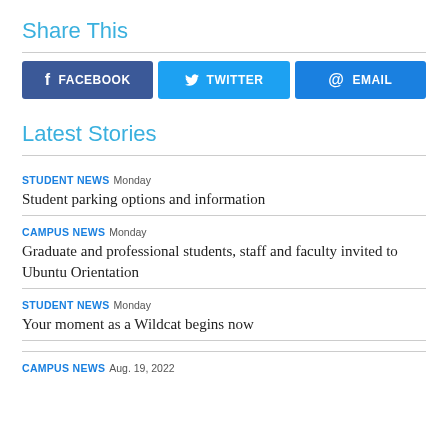Share This
[Figure (infographic): Social share buttons: Facebook, Twitter, Email]
Latest Stories
STUDENT NEWS  Monday
Student parking options and information
CAMPUS NEWS  Monday
Graduate and professional students, staff and faculty invited to Ubuntu Orientation
STUDENT NEWS  Monday
Your moment as a Wildcat begins now
CAMPUS NEWS  Aug. 19, 2022